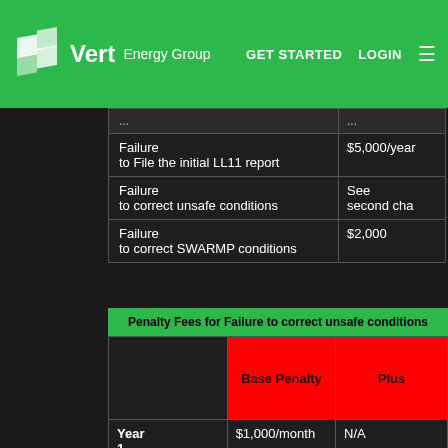Vert Energy Group — GET STARTED  LOGIN
| Violation | Penalty |
| --- | --- |
| Failure
to File the initial LL11 report | $5,000/year |
| Failure
to correct unsafe conditions | See
second cha... |
| Failure
to correct SWARMP conditions | $2,000 |
| Penalty Fees for Failure to correct unsafe conditions |  |  |
| --- | --- | --- |
|  | Base Penalty | Plus |
| Year
1 | $1,000/month | N/A |
| Year
2 | $1,000/month | $10/linear
foot (l.f.) of she... |